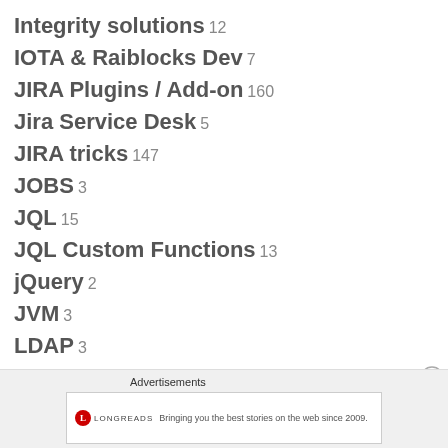Integrity solutions 12
IOTA & Raiblocks Dev 7
JIRA Plugins / Add-on 160
Jira Service Desk 5
JIRA tricks 147
JOBS 3
JQL 15
JQL Custom Functions 13
jQuery 2
JVM 3
LDAP 3
Advertisements
[Figure (other): Longreads advertisement banner: logo and text 'Bringing you the best stories on the web since 2009.']